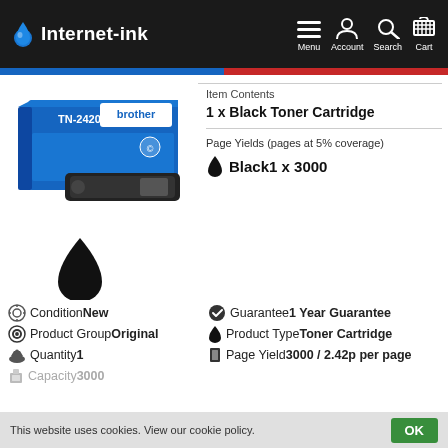Internet-ink — Menu, Account, Search, Cart
[Figure (photo): Brother TN-2420 Black Toner Cartridge product box and toner unit]
Item Contents
1 x Black Toner Cartridge
Page Yields (pages at 5% coverage)
Black 1 x 3000
[Figure (illustration): Large black ink drop icon]
Condition New   Guarantee 1 Year Guarantee
Product Group Original   Product Type Toner Cartridge
Quantity 1   Page Yield 3000 / 2.42p per page
Capacity 3000
This website uses cookies. View our cookie policy.